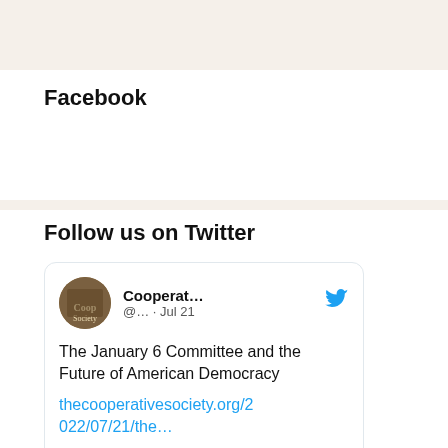Facebook
Follow us on Twitter
[Figure (screenshot): Embedded Twitter/X tweet card from 'Cooperat...' account (@...) dated Jul 21, showing text 'The January 6 Committee and the Future of American Democracy' with link thecooperativesociety.org/2022/07/21/the… and a photo of people with an American flag in the background.]